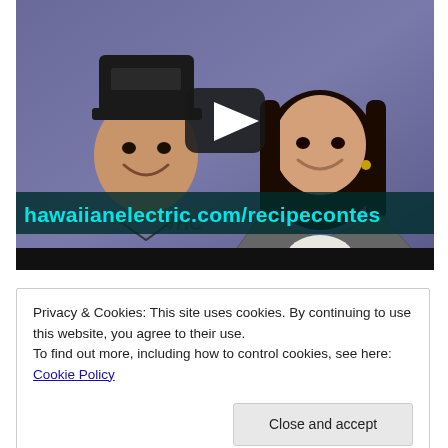[Figure (screenshot): Video thumbnail showing two people (a man wearing a black cap on the left, a woman on the right) in front of a purple/blue background. A YouTube-style play button is centered. A teal banner at the bottom reads: hawaiianelectric.com/recipecontes]
Privacy & Cookies: This site uses cookies. By continuing to use this website, you agree to their use.
To find out more, including how to control cookies, see here: Cookie Policy
Close and accept